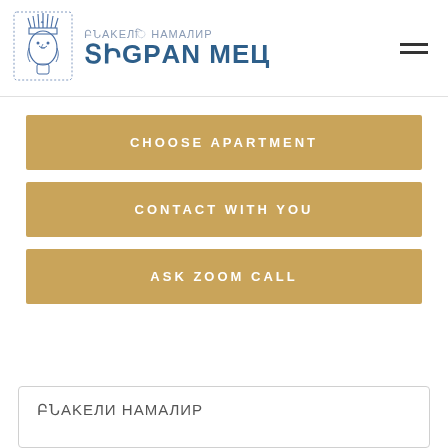[Figure (logo): Armenian queen/warrior logo with decorative crown illustration in blue ink style]
ԲՆԱԿԵԼԻ ՀԱՄԱԼԻՐ ՏԻԳՐԱՆ ՄԵԾ
CHOOSE APARTMENT
CONTACT WITH YOU
ASK ZOOM CALL
ԲՆԱԿԵԼԻ ՀԱՄԱԼԻՐ